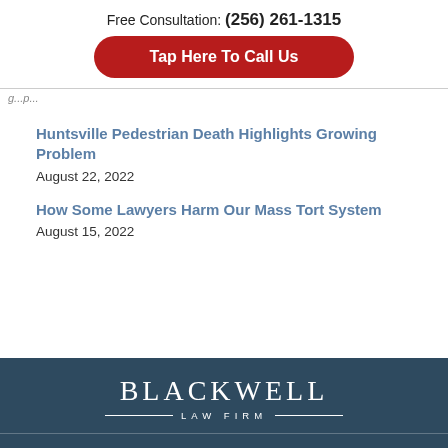Free Consultation: (256) 261-1315
Tap Here To Call Us
g...p...
Huntsville Pedestrian Death Highlights Growing Problem
August 22, 2022
How Some Lawyers Harm Our Mass Tort System
August 15, 2022
BLACKWELL LAW FIRM